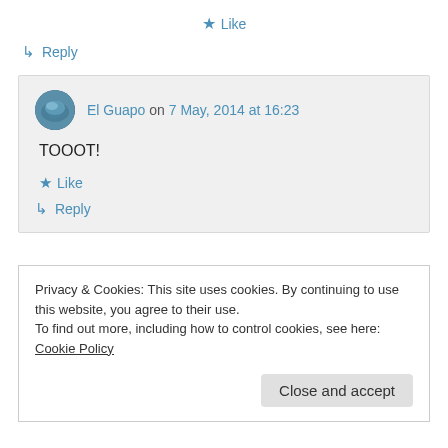★ Like
↳ Reply
El Guapo on 7 May, 2014 at 16:23
TOOOT!
★ Like
↳ Reply
Privacy & Cookies: This site uses cookies. By continuing to use this website, you agree to their use.
To find out more, including how to control cookies, see here: Cookie Policy
Close and accept